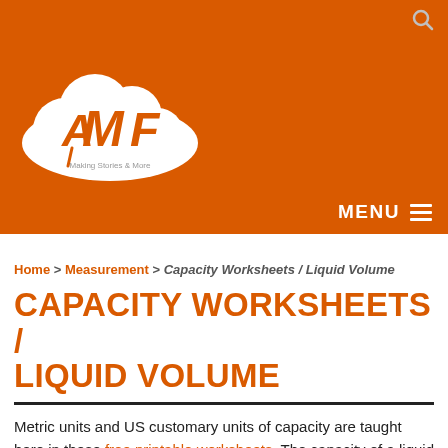[Figure (logo): MWF logo: white cloud shape with orange pencil and 'MWF' letters, on orange background. Subtitle text: 'Making Stories & More']
MENU
Home > Measurement > Capacity Worksheets / Liquid Volume
CAPACITY WORKSHEETS / LIQUID VOLUME
Metric units and US customary units of capacity are taught here in these free printable worksheets. The capacity of a liquid is the amount of liquid in the container. How do we measure the liquid in a